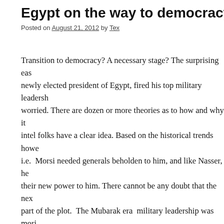Egypt on the way to democracy or Islami...
Posted on August 21, 2012 by Tex
Transition to democracy? A necessary stage? The surprising eas... newly elected president of Egypt, fired his top military leadership... worried. There are dozen or more theories as to how and why it... intel folks have a clear idea. Based on the historical trends howe... i.e. Morsi needed generals beholden to him, and like Nasser, he... their new power to him. There cannot be any doubt that the nex... part of the plot. The Mubarak era military leadership was mori... identified with Mubarak, and the U.S. and generally standing in... generals in waiting, Like al-Sisi.. For sitting on their hands whi... unceremoniously dumped, the new leadership will be assured th... perhaps increase. The relatively higher standard of living enjoye... officer corps will be maintained.
Morsi has the military leadership in place whom he will need to... struggle for power will begin…with much of the competition co... brotherhood ( MB). Morsi is not the charismatic leader that Na...